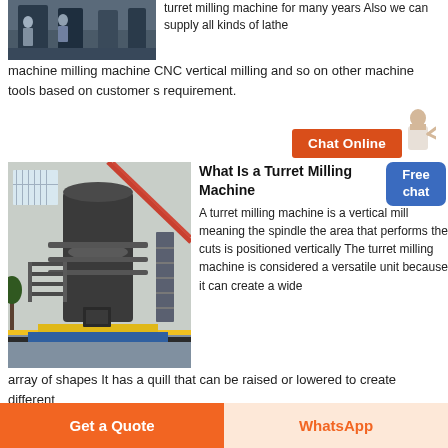[Figure (photo): Photo of industrial machinery (turret milling machines) in a factory, blue equipment visible]
turret milling machine for many years Also we can supply all kinds of lathe machine milling machine CNC vertical milling and so on other machine tools based on customer s requirement.
[Figure (other): Chat Online button with orange background and person illustration]
What Is a Turret Milling Machine
[Figure (photo): Photo of a large industrial turret milling machine inside a factory building]
A turret milling machine is a vertical mill meaning the spindle the area that performs the cuts is positioned vertically The turret milling machine is considered a versatile unit because it can create a wide array of shapes It has a quill that can be raised or lowered to create different
[Figure (other): Free chat button, blue rounded rectangle]
Get a Quote
WhatsApp